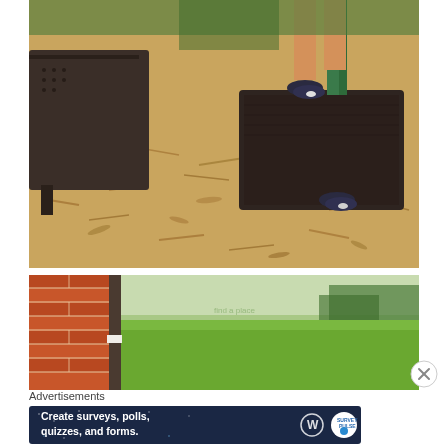[Figure (photo): Outdoor playground photo showing wood chip mulch ground cover with a dark metal picnic table or platform on the left, and a person's legs and sneakers stepping off a dark metal step/platform in the upper right area.]
[Figure (photo): Outdoor photo showing a red/orange brick or cinder block wall on the left, and a grassy green field or park lawn in the background.]
Advertisements
[Figure (screenshot): Advertisement banner with dark navy blue background reading 'Create surveys, polls, quizzes, and forms.' with a WordPress logo icon and a round Survey Monkey or similar badge logo on the right.]